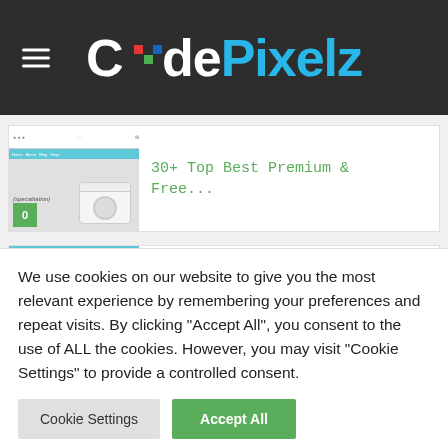[Figure (logo): CodePixelz website logo on dark background with hamburger menu icon]
[Figure (screenshot): Article card thumbnail showing Xbox console and browser screenshot with badge '0', linked to article '30+ Top Best Premium & Free...']
30+ Top Best Premium & Free...
[Figure (screenshot): Article card thumbnail with teal/cyan background showing holiday-themed image]
Holiday WordPress Deals for
We use cookies on our website to give you the most relevant experience by remembering your preferences and repeat visits. By clicking "Accept All", you consent to the use of ALL the cookies. However, you may visit "Cookie Settings" to provide a controlled consent.
Cookie Settings
Accept All